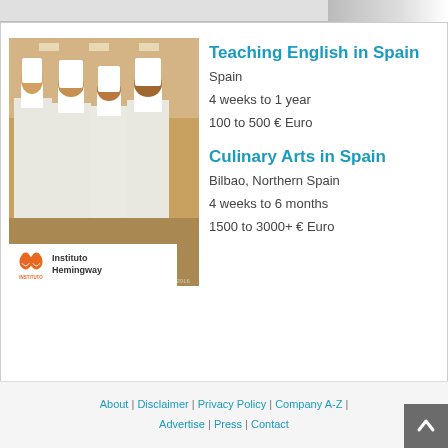[Figure (photo): Partial top banner with cropped image on right side]
[Figure (photo): Photo of four chefs in white uniforms and tall chef hats at Instituto Hemingway, Bilbao. Logo overlay at bottom left shows Instituto Hemingway branding with orange figure icons.]
Teaching English in Spain
Spain
4 weeks to 1 year
100 to 500 € Euro
Culinary Arts in Spain
Bilbao, Northern Spain
4 weeks to 6 months
1500 to 3000+ € Euro
About | Disclaimer | Privacy Policy | Company A-Z | Advertise | Press | Contact